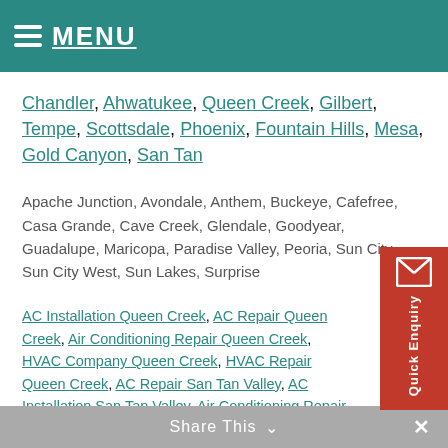MENU
Chandler, Ahwatukee, Queen Creek, Gilbert, Tempe, Scottsdale, Phoenix, Fountain Hills, Mesa, Gold Canyon, San Tan
Apache Junction, Avondale, Anthem, Buckeye, Cafefree, Casa Grande, Cave Creek, Glendale, Goodyear, Guadalupe, Maricopa, Paradise Valley, Peoria, Sun City, Sun City West, Sun Lakes, Surprise
AC Installation Queen Creek, AC Repair Queen Creek, Air Conditioning Repair Queen Creek, HVAC Company Queen Creek, HVAC Repair Queen Creek, AC Repair San Tan Valley, AC Installation San Tan Valley, Air Conditioning Repair San Tan Valley, HVAC Company San Tan Valley, HVAC Repair San Tan Valley, AC Installation Tempe, AC Repair Tempe, Air Conditioning Repair Tempe, HVAC Company Tempe, HVAC Repair Tempe
Location & Contact
Share This